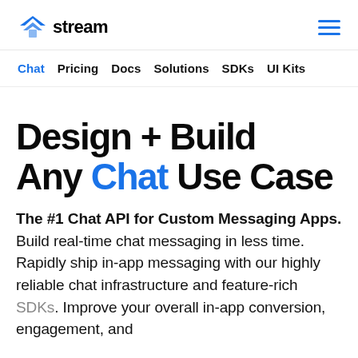stream
Chat  Pricing  Docs  Solutions  SDKs  UI Kits
Design + Build Any Chat Use Case
The #1 Chat API for Custom Messaging Apps. Build real-time chat messaging in less time. Rapidly ship in-app messaging with our highly reliable chat infrastructure and feature-rich SDKs. Improve your overall in-app conversion, engagement, and